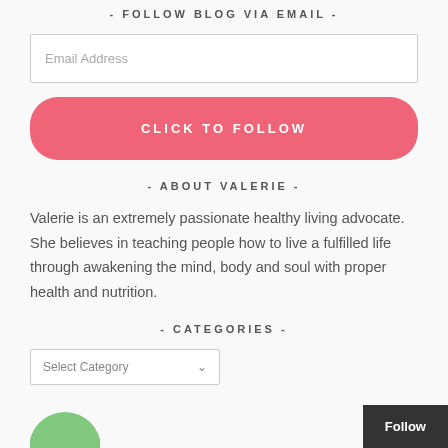- FOLLOW BLOG VIA EMAIL -
[Figure (other): Email address input field with placeholder text 'Email Address']
[Figure (other): Pink rounded button labeled 'CLICK TO FOLLOW']
- ABOUT VALERIE -
Valerie is an extremely passionate healthy living advocate. She believes in teaching people how to live a fulfilled life through awakening the mind, body and soul with proper health and nutrition.
- CATEGORIES -
[Figure (other): Dropdown select box with placeholder 'Select Category']
[Figure (other): Partial green circular logo/image at bottom left]
Follow